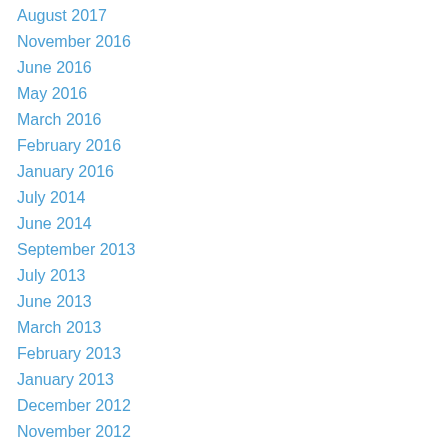August 2017
November 2016
June 2016
May 2016
March 2016
February 2016
January 2016
July 2014
June 2014
September 2013
July 2013
June 2013
March 2013
February 2013
January 2013
December 2012
November 2012
October 2012
September 2012
August 2012